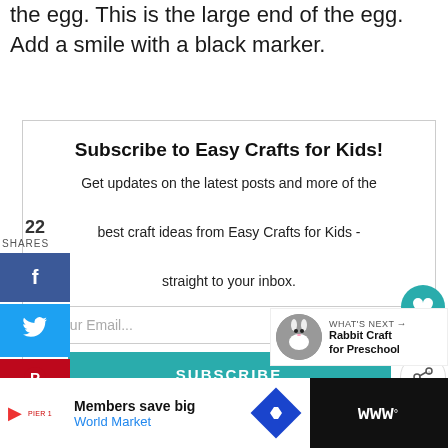the egg. This is the large end of the egg. Add a smile with a black marker.
Subscribe to Easy Crafts for Kids!
Get updates on the latest posts and more of the best craft ideas from Easy Crafts for Kids - straight to your inbox.
22 SHARES
[Figure (infographic): Social share sidebar with Facebook (f), Twitter (bird), and Pinterest (P) buttons. Pinterest shows 22 count.]
[Figure (infographic): Right-side floating widgets: heart icon (teal circle), number 23, share icon (circle), orange circle.]
[Figure (infographic): What's Next panel showing a rabbit craft image with label 'WHAT'S NEXT' and text 'Rabbit Craft for Preschool']
[Figure (infographic): Bottom advertisement bar: Members save big - World Market, with play button, logo, diamond icon, and right block logo]